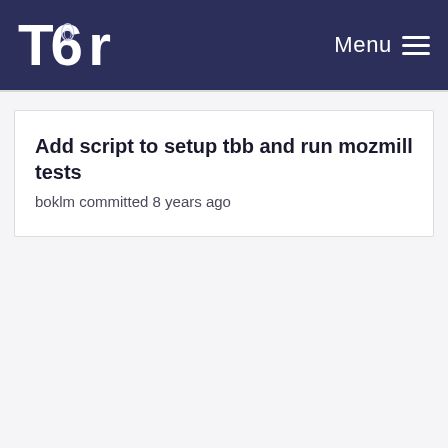Tor — Menu
Add script to setup tbb and run mozmill tests
boklm committed 8 years ago